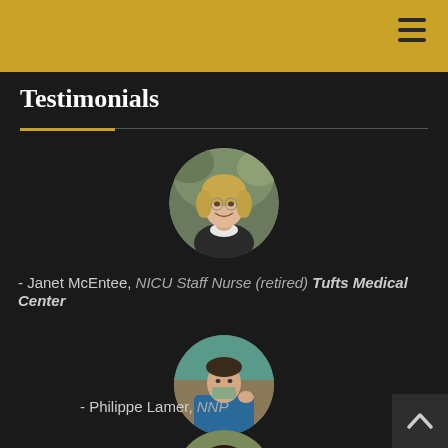Testimonials
- Janet McEntee, NICU Staff Nurse (retired) Tufts Medical Center
[Figure (photo): Circular profile photo of Janet McEntee, a smiling woman with blonde hair]
[Figure (photo): Circular profile photo of Philippe Lamer, person in blue scrubs outdoors]
- Philippe Lamer, NNP
[Figure (photo): Circular profile photo of a third person, woman with dark hair and glasses]